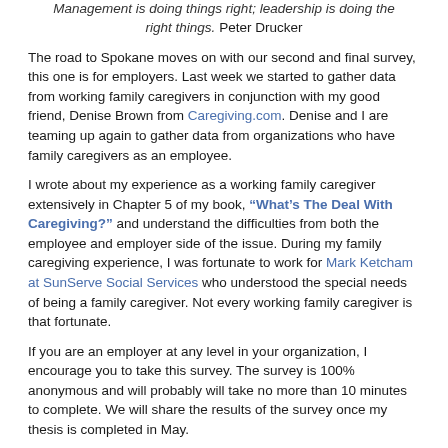Management is doing things right; leadership is doing the right things.  Peter Drucker
The road to Spokane moves on with our second and final survey, this one is for employers.   Last week we started to gather data from working family caregivers in conjunction with my good friend, Denise Brown from Caregiving.com.  Denise and I are teaming up again to gather data from organizations who have family caregivers as an employee.
I wrote about my experience as a working family caregiver extensively in Chapter 5 of my book, “What’s The Deal With Caregiving?” and understand the difficulties from both the employee and employer side of the issue.  During my family caregiving experience, I was fortunate to work for Mark Ketcham at SunServe Social Services who understood the special needs of being a family caregiver.   Not every working family caregiver is that fortunate.
If you are an employer at any level in your organization, I encourage you to take this survey. The survey is 100% anonymous and will probably will take no more than 10 minutes to complete. We will share the results of the survey once my thesis is completed in May.